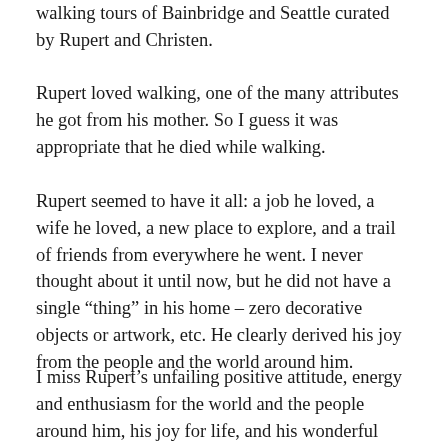walking tours of Bainbridge and Seattle curated by Rupert and Christen.
Rupert loved walking, one of the many attributes he got from his mother. So I guess it was appropriate that he died while walking.
Rupert seemed to have it all: a job he loved, a wife he loved, a new place to explore, and a trail of friends from everywhere he went. I never thought about it until now, but he did not have a single “thing” in his home – zero decorative objects or artwork, etc. He clearly derived his joy from the people and the world around him.
I miss Rupert’s unfailing positive attitude, energy and enthusiasm for the world and the people around him, his joy for life, and his wonderful sense of humor. He was an inspiring friend.